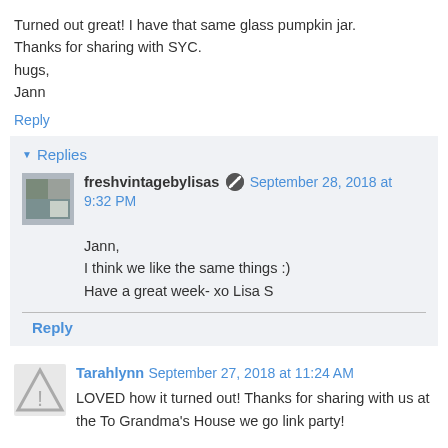Turned out great! I have that same glass pumpkin jar. Thanks for sharing with SYC.
hugs,
Jann
Reply
Replies
freshvintagebylisas  September 28, 2018 at 9:32 PM
Jann,
I think we like the same things :)
Have a great week- xo Lisa S
Reply
Tarahlynn  September 27, 2018 at 11:24 AM
LOVED how it turned out! Thanks for sharing with us at the To Grandma's House we go link party!